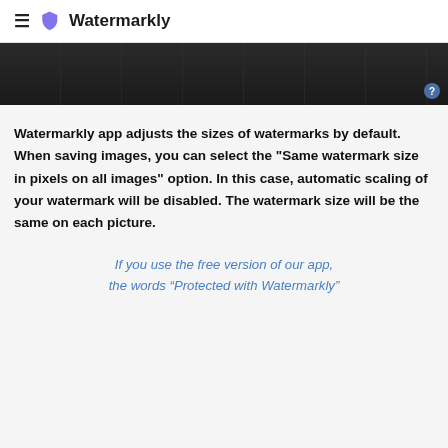≡  Watermarkly
[Figure (screenshot): Dark image strip showing a cropped screenshot of the Watermarkly app interface with a question mark badge in the bottom right corner]
Watermarkly app adjusts the sizes of watermarks by default. When saving images, you can select the "Same watermark size in pixels on all images" option. In this case, automatic scaling of your watermark will be disabled. The watermark size will be the same on each picture.
If you use the free version of our app, the words “Protected with Watermarkly”